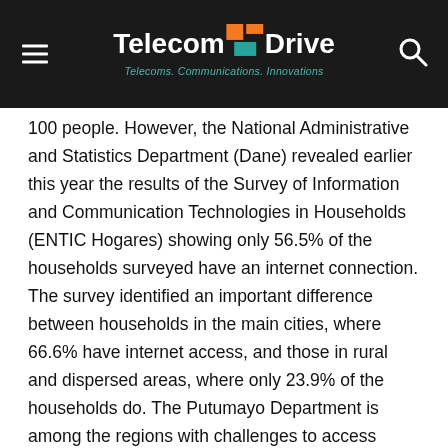TelecomDrive — Telecoms. Communications. Innovations.
100 people. However, the National Administrative and Statistics Department (Dane) revealed earlier this year the results of the Survey of Information and Communication Technologies in Households (ENTIC Hogares) showing only 56.5% of the households surveyed have an internet connection. The survey identified an important difference between households in the main cities, where 66.6% have internet access, and those in rural and dispersed areas, where only 23.9% of the households do. The Putumayo Department is among the regions with challenges to access reliable connectivity services.
“By working together with SES, we are able to quickly and cost-effectively expand our network in underserved and tough-to-reach areas helping to address the digital divide for